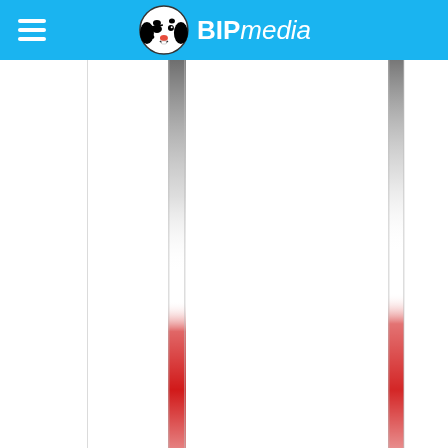[Figure (logo): BIPmedia logo with dalmatian dog wearing pirate eye patch, with hamburger menu icon on the left, on a bright blue header bar]
[Figure (other): White page content area with vertical lines: thin border lines at left edge, and two vertical strips with gradient (dark-to-transparent from top) that transition to red near the bottom two-thirds, on a white background]